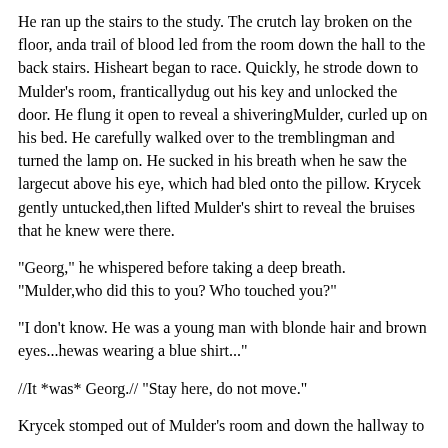He ran up the stairs to the study. The crutch lay broken on the floor, anda trail of blood led from the room down the hall to the back stairs. Hisheart began to race. Quickly, he strode down to Mulder's room, franticallydug out his key and unlocked the door. He flung it open to reveal a shiveringMulder, curled up on his bed. He carefully walked over to the tremblingman and turned the lamp on. He sucked in his breath when he saw the largecut above his eye, which had bled onto the pillow. Krycek gently untucked,then lifted Mulder's shirt to reveal the bruises that he knew were there.
"Georg," he whispered before taking a deep breath. "Mulder,who did this to you? Who touched you?"
"I don't know. He was a young man with blonde hair and brown eyes...hewas wearing a blue shirt..."
//It *was* Georg.// "Stay here, do not move."
Krycek stomped out of Mulder's room and down the hallway to the staircase,his leather coat flapping behind him. He flew down the stairs and out theback door to the servant's quarters. He found Georg, in his room, smokinga cigarette. The young man jumped as Krycek kicked the door open. Just asIngrid said, he had a large cut on the side of his head. His blonde hairwas stained red and brown from the drying blood.